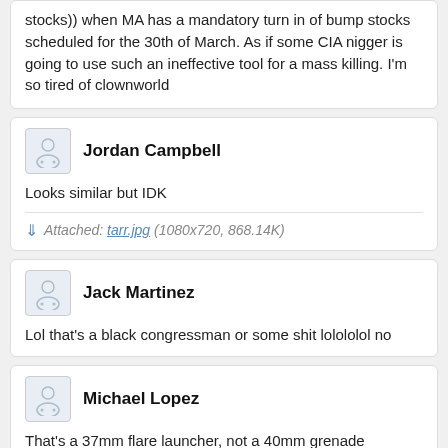stocks)) when MA has a mandatory turn in of bump stocks scheduled for the 30th of March. As if some CIA nigger is going to use such an ineffective tool for a mass killing. I'm so tired of clownworld
Jordan Campbell
Looks similar but IDK
Attached: tarr.jpg (1080x720, 868.14K)
Jack Martinez
Lol that's a black congressman or some shit lolololol no
Michael Lopez
That's a 37mm flare launcher, not a 40mm grenade launcher. Those are considered Destructive Devices and are heavily regulated.